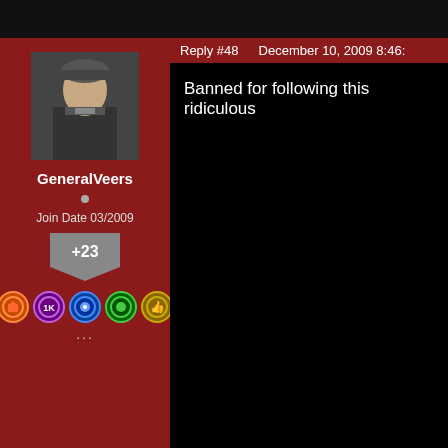Reply #48    December 10, 2009 8:46:
GeneralVeers
Join Date 03/2009
+23
Banned for following this ridiculous
Reply #49    December 10, 2009 8:49:
chaos_forge
Join Date 04/2008
+1
banned cause im awesome like tha